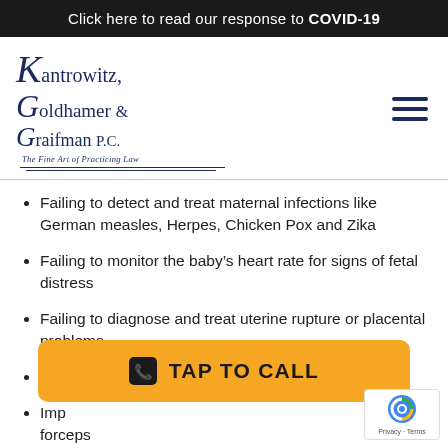Click here to read our response to COVID-19
[Figure (logo): Kantrowitz, Goldhamer & Graifman P.C. law firm logo with tagline 'The Fine Art of Practicing Law']
Failing to detect and treat maternal infections like German measles, Herpes, Chicken Pox and Zika
Failing to monitor the baby's heart rate for signs of fetal distress
Failing to diagnose and treat uterine rupture or placental problems
Failing to perform a Cesarean section in a timely manner
Improperly using delivery-assist devices such as forceps